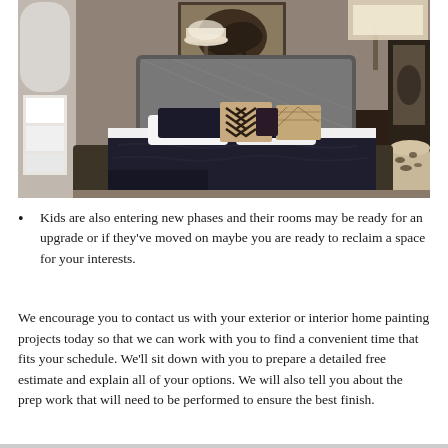[Figure (photo): Interior bedroom photo showing a luxuriously decorated room with a large bed featuring dark navy/black bedding, decorative pillows with chevron and diamond patterns, a silver upholstered headboard, bedside lamps, a framed horse painting on the wall, and an animal print ottoman in the corner.]
Kids are also entering new phases and their rooms may be ready for an upgrade or if they've moved on maybe you are ready to reclaim a space for your interests.
We encourage you to contact us with your exterior or interior home painting projects today so that we can work with you to find a convenient time that fits your schedule. We'll sit down with you to prepare a detailed free estimate and explain all of your options. We will also tell you about the prep work that will need to be performed to ensure the best finish.